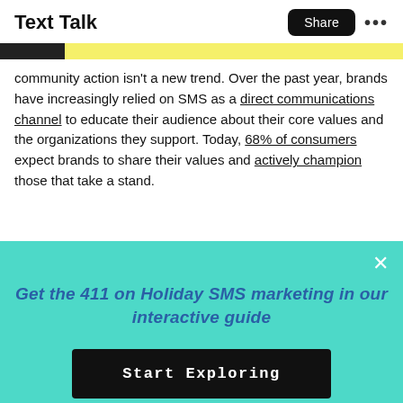Text Talk
community action isn't a new trend. Over the past year, brands have increasingly relied on SMS as a direct communications channel to educate their audience about their core values and the organizations they support. Today, 68% of consumers expect brands to share their values and actively champion those that take a stand.
[Figure (infographic): Teal/turquoise promotional popup box with close X button, italic blue heading 'Get the 411 on Holiday SMS marketing in our interactive guide', and a dark button labeled 'Start Exploring']